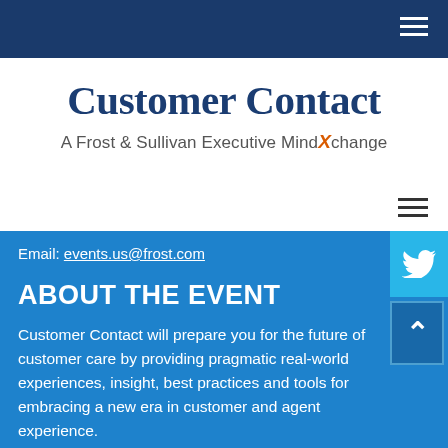[Figure (logo): Customer Contact - A Frost & Sullivan Executive MindXchange logo with navy blue text and orange X]
Email: events.us@frost.com
ABOUT THE EVENT
Customer Contact will prepare you for the future of customer care by providing pragmatic real-world experiences, insight, best practices and tools for embracing a new era in customer and agent experience.